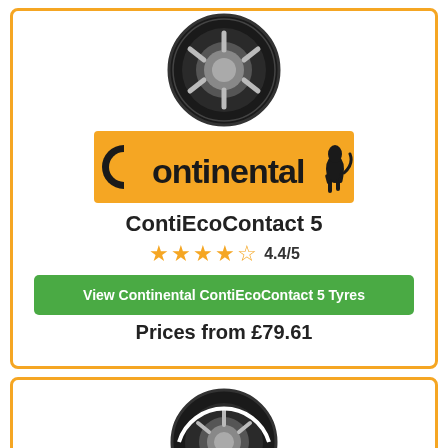[Figure (photo): Continental ContiEcoContact 5 tyre image, top view, dark tyre on white background]
[Figure (logo): Continental brand logo, black text on orange background with horse rearing image]
ContiEcoContact 5
4.4/5 star rating with 4 full stars and 1 half star
View Continental ContiEcoContact 5 Tyres
Prices from £79.61
[Figure (photo): Second tyre product image partially visible at bottom of page]